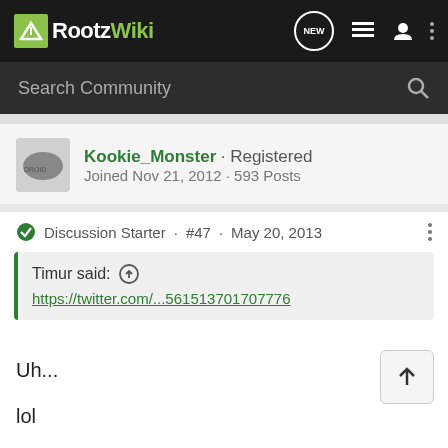RootzWiki
Search Community
Kookie_Monster · Registered
Joined Nov 21, 2012 · 593 Posts
Discussion Starter · #47 · May 20, 2013
Timur said: ↑
https://twitter.com/...561513701707776
Uh...

lol